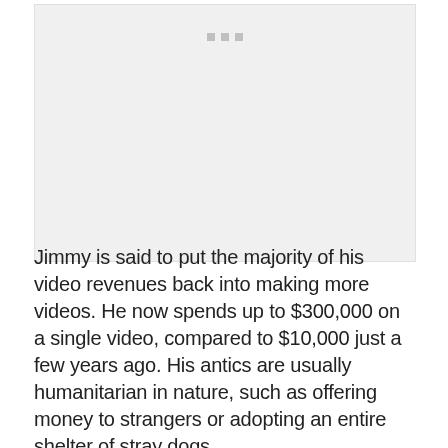[Figure (other): Image placeholder with three small dots at the top center, light gray background]
Jimmy is said to put the majority of his video revenues back into making more videos. He now spends up to $300,000 on a single video, compared to $10,000 just a few years ago. His antics are usually humanitarian in nature, such as offering money to strangers or adopting an entire shelter of stray dogs.